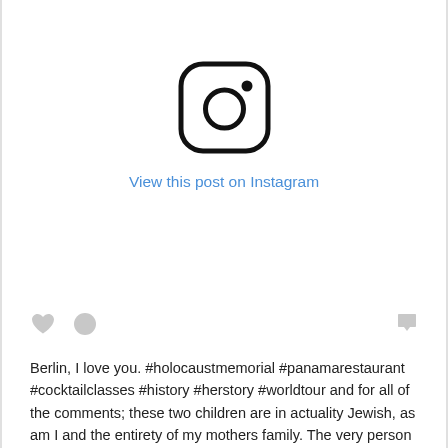[Figure (logo): Instagram logo icon — rounded square outline with a circle in the center and a small dot in the upper right, rendered in black on white background]
View this post on Instagram
[Figure (other): Social media action icons — a heart icon on the left, a speech bubble icon next to it, and a bookmark/flag icon on the right]
Berlin, I love you. #holocaustmemorial #panamarestaurant #cocktailclasses #history #herstory #worldtour and for all of the comments; these two children are in actuality Jewish, as am I and the entirety of my mothers family. The very person who constructed this believed in children being